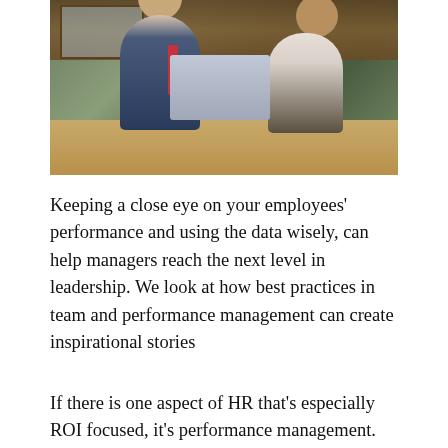[Figure (photo): Two professionals, a man in a suit with a red tie and a woman in a light top with a gold necklace, sitting at a wooden table outdoors looking at a laptop computer. Background shows a wooden-paneled cafe or restaurant setting with greenery.]
Keeping a close eye on your employees' performance and using the data wisely, can help managers reach the next level in leadership. We look at how best practices in team and performance management can create inspirational stories
If there is one aspect of HR that's especially ROI focused, it's performance management. After